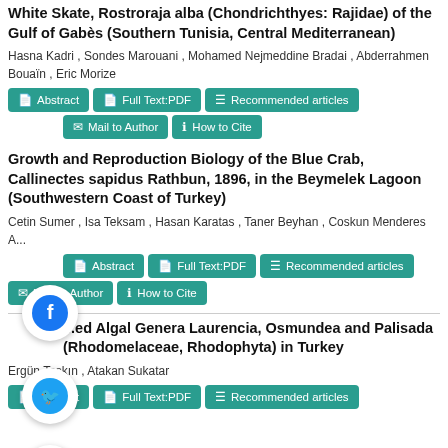White Skate, Rostroraja alba (Chondrichthyes: Rajidae) of the Gulf of Gabès (Southern Tunisia, Central Mediterranean)
Hasna Kadri , Sondes Marouani , Mohamed Nejmeddine Bradai , Abderrahmen Bouaïn , Eric Morize
Growth and Reproduction Biology of the Blue Crab, Callinectes sapidus Rathbun, 1896, in the Beymelek Lagoon (Southwestern Coast of Turkey)
Cetin Sumer , Isa Teksam , Hasan Karatas , Taner Beyhan , Coskun Menderes A...
...ed Algal Genera Laurencia, Osmundea and Palisada (Rhodomelaceae, Rhodophyta) in Turkey
Ergün Taşkın , Atakan Sukatar